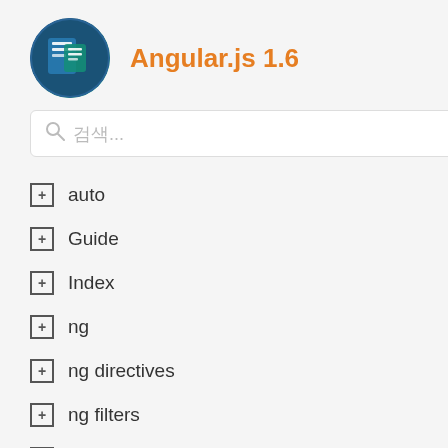[Figure (screenshot): Angular.js 1.6 documentation sidebar showing logo, search box, and navigation items with counts: auto (16), Guide (30), Index (1), ng (7), ng directives (67), ng filters (9), ng functions (27), ng inputs (12), ng objects (1), ng providers (47), ng services (108), ng types (100)]
and the
initial ru
omparison (link)
W
T
t
If you
watchExp
watchExp